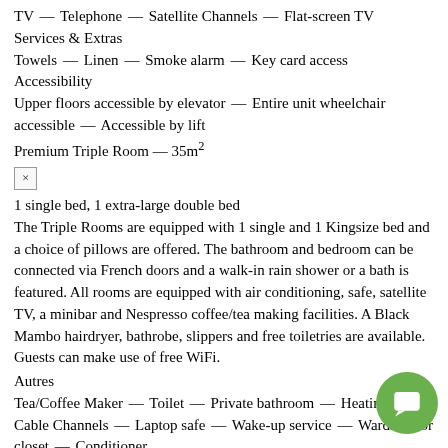TV — Telephone — Satellite Channels — Flat-screen TV
Services & Extras
Towels — Linen — Smoke alarm — Key card access
Accessibility
Upper floors accessible by elevator — Entire unit wheelchair accessible — Accessible by lift
Premium Triple Room — 35m²
× (close button)
1 single bed, 1 extra-large double bed
The Triple Rooms are equipped with 1 single and 1 Kingsize bed and a choice of pillows are offered. The bathroom and bedroom can be connected via French doors and a walk-in rain shower or a bath is featured. All rooms are equipped with air conditioning, safe, satellite TV, a minibar and Nespresso coffee/tea making facilities. A Black Mambo hairdryer, bathrobe, slippers and free toiletries are available. Guests can make use of free WiFi.
Autres
Tea/Coffee Maker — Toilet — Private bathroom — Heating — Cable Channels — Laptop safe — Wake-up service — Wardrobe or closet — Conditioner
Food & Drink
Minibar — Electric kettle — Coffee machine — Bottle of... Wine glasses
Bathroom
Shower — Hairdryer — Bathrobe — Free toiletries — Slippers —